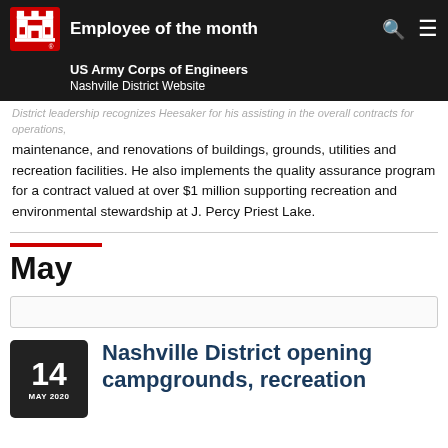Employee of the month
US Army Corps of Engineers Nashville District Website
District leadership recognizes Heesaker for his assisting in the overall contracts for operations, maintenance, and renovations of buildings, grounds, utilities and recreation facilities. He also implements the quality assurance program for a contract valued at over $1 million supporting recreation and environmental stewardship at J. Percy Priest Lake.
May
Nashville District opening campgrounds, recreation